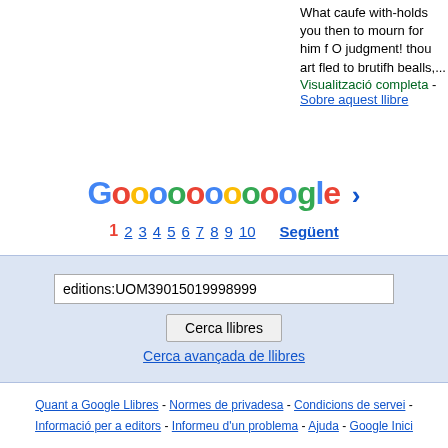What caufe with-holds you then to mourn for him f O judgment! thou art fled to brutifh bealls,...
Visualització completa - Sobre aquest llibre
[Figure (other): Google pagination bar with logo letters G-o-o-o-o-o-o-o-o-o-o-G-l-e and page numbers 1 2 3 4 5 6 7 8 9 10 and Següent link]
editions:UOM39015019998999
Cerca llibres
Cerca avançada de llibres
Quant a Google Llibres - Normes de privadesa - Condicions de servei - Informació per a editors - Informeu d'un problema - Ajuda - Google Inici